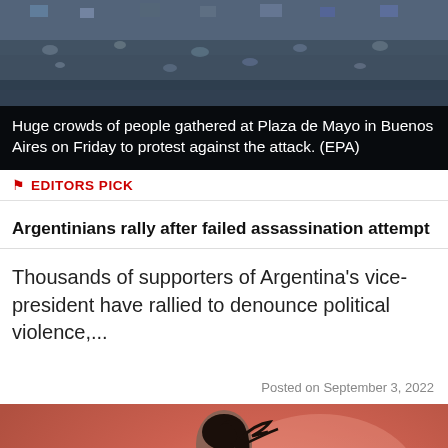[Figure (photo): Huge crowd of people gathered at Plaza de Mayo in Buenos Aires, aerial view with flags visible]
Huge crowds of people gathered at Plaza de Mayo in Buenos Aires on Friday to protest against the attack. (EPA)
EDITORS PICK
Argentinians rally after failed assassination attempt
Thousands of supporters of Argentina's vice-president have rallied to denounce political violence,...
Posted on September 3, 2022
[Figure (photo): Female athlete in yellow and blue Puma uniform running on track with orange/pink blurred background]